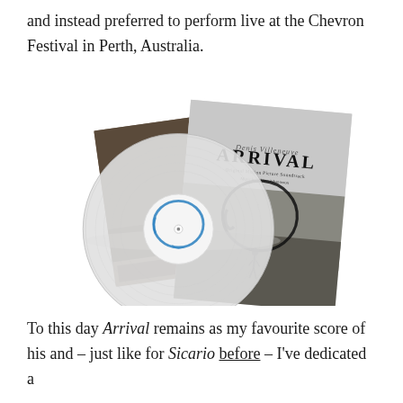and instead preferred to perform live at the Chevron Festival in Perth, Australia.
[Figure (photo): Photo of a vinyl record (transparent/clear pressing) with a blue-ink circular label, alongside the album sleeve/booklet for 'Arrival' — a film score soundtrack. The sleeve shows a figure standing on a landscape with a large circular symbol above them, and the word 'ARRIVAL' in large text.]
To this day Arrival remains as my favourite score of his and – just like for Sicario before – I've dedicated a